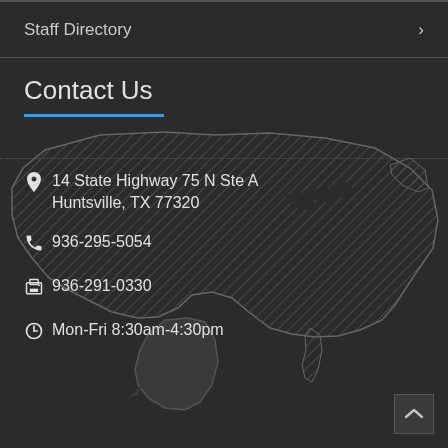Staff Directory
Contact Us
14 State Highway 75 N Ste A Huntsville, TX 77320
936-295-5054
936-291-0330
Mon-Fri 8:30am-4:30pm
[Figure (map): Hatched outline map of the contiguous United States with Texas highlighted in a darker solid gray silhouette, against a dark background]